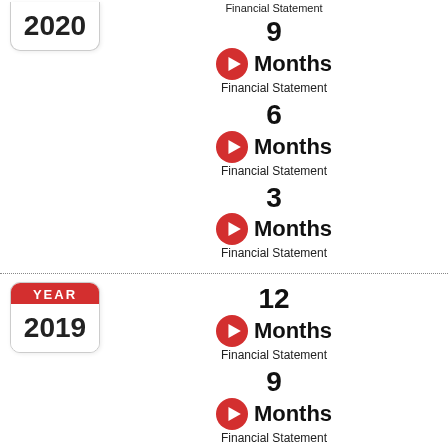[Figure (infographic): Calendar icon showing year 2020 (partial, bottom portion visible), followed by three financial statement entries: 9 Months, 6 Months, and 3 Months, each with a red play button icon and 'Financial Statement' label.]
[Figure (infographic): Calendar icon showing YEAR / 2019, followed by financial statement entries: 12 Months, 9 Months, 6 Months Financial Statement, and partial 3 Months entry, each with a red play button icon.]